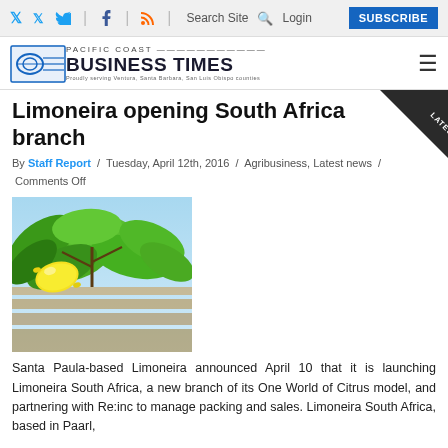Twitter | Facebook | RSS | Search Site | Login | SUBSCRIBE
[Figure (logo): Pacific Coast Business Times logo with wave icon]
Limoneira opening South Africa branch
By Staff Report / Tuesday, April 12th, 2016 / Agribusiness, Latest news / Comments Off
[Figure (photo): Close-up photo of lemon on citrus tree with green leaves]
Santa Paula-based Limoneira announced April 10 that it is launching Limoneira South Africa, a new branch of its One World of Citrus model, and partnering with Re:inc to manage packing and sales. Limoneira South Africa, based in Paarl,